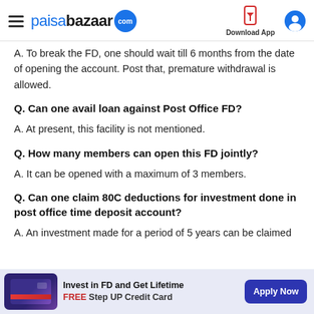paisabazaar.com | Download App
A. To break the FD, one should wait till 6 months from the date of opening the account. Post that, premature withdrawal is allowed.
Q. Can one avail loan against Post Office FD?
A. At present, this facility is not mentioned.
Q. How many members can open this FD jointly?
A. It can be opened with a maximum of 3 members.
Q. Can one claim 80C deductions for investment done in post office time deposit account?
A. An investment made for a period of 5 years can be claimed
Invest in FD and Get Lifetime FREE Step UP Credit Card